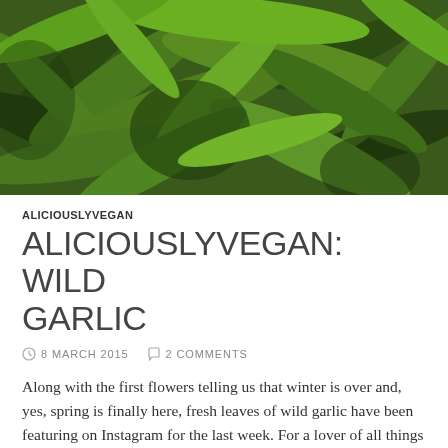[Figure (photo): Close-up photograph of fresh wild garlic leaves, bright green overlapping leaves filling the entire frame]
ALICIOUSLYVEGAN
ALICIOUSLYVEGAN: WILD GARLIC
8 MARCH 2015   2 COMMENTS
Along with the first flowers telling us that winter is over and, yes, spring is finally here, fresh leaves of wild garlic have been featuring on Instagram for the last week. For a lover of all things garlic like myself this meant that wild garlic had to be found and harvested asap. Because I'm a